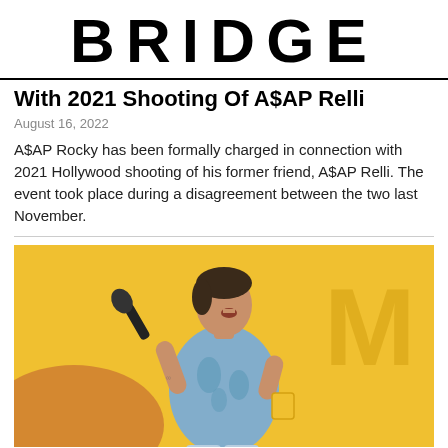BRIDGE
With 2021 Shooting Of A$AP Relli
August 16, 2022
A$AP Rocky has been formally charged in connection with 2021 Hollywood shooting of his former friend, A$AP Relli. The event took place during a disagreement between the two last November.
[Figure (photo): A male performer on stage leaning forward singing into a microphone, wearing a light blue floral short-sleeve shirt and light jeans, holding a yellow cup, with a yellow background.]